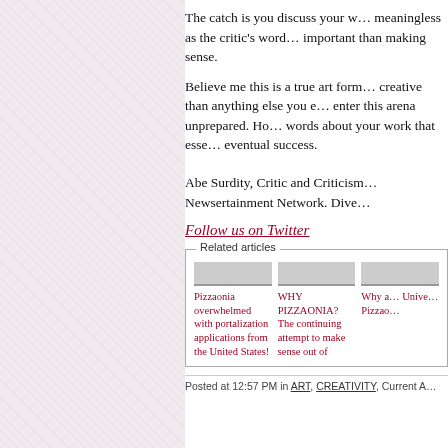The catch is you discuss your w… meaningless as the critic's word… important than making sense.
Believe me this is a true art form… creative than anything else you e… enter this arena unprepared. Ho… words about your work that esse… eventual success.
Abe Surdity, Critic and Criticism… Newsertainment Network. Dive…
Follow us on Twitter
Related articles
Pizzaonia overwhelmed with portalization applications from the United States!
WHY PIZZAONIA? The continuing attempt to make sense out of
Why a… Unive… Pizzao…
Posted at 12:57 PM in ART, CREATIVITY, Current A…